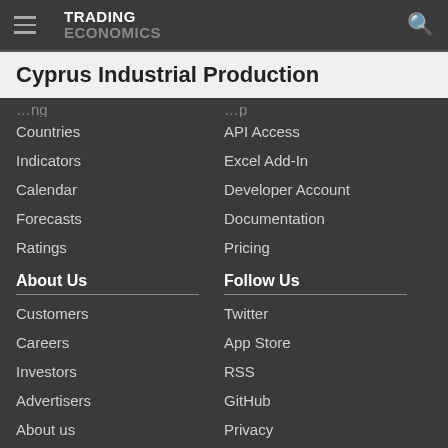TRADING ECONOMICS
Cyprus Industrial Production
Countries
Indicators
Calendar
Forecasts
Ratings
API Access
Excel Add-In
Developer Account
Documentation
Pricing
About Us
Customers
Careers
Investors
Advertisers
About us
Follow Us
Twitter
App Store
RSS
GitHub
Privacy
Copyright ©2022 TRADING ECONOMICS
All Rights Reserved